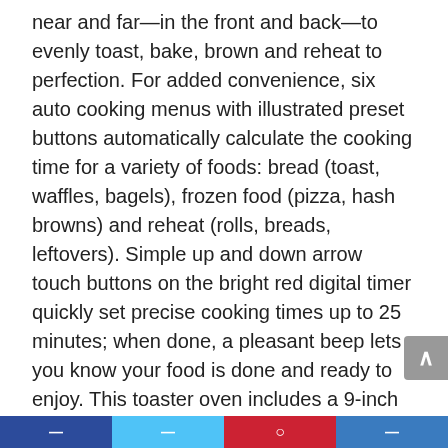near and far—in the front and back—to evenly toast, bake, brown and reheat to perfection. For added convenience, six auto cooking menus with illustrated preset buttons automatically calculate the cooking time for a variety of foods: bread (toast, waffles, bagels), frozen food (pizza, hash browns) and reheat (rolls, breads, leftovers). Simple up and down arrow touch buttons on the bright red digital timer quickly set precise cooking times up to 25 minutes; when done, a pleasant beep lets you know your food is done and ready to enjoy. This toaster oven includes a 9-inch square inner baking tray perfect for 9-inch diameter pizzas or 4 slices of bread, a removable crumb tray for easy cleaning and an interior light which allows you to view your food while cooking. Internal dimensions: 10-1/8-inch x 13-inch x 12-inch (H x W x D). Do not use outdoors